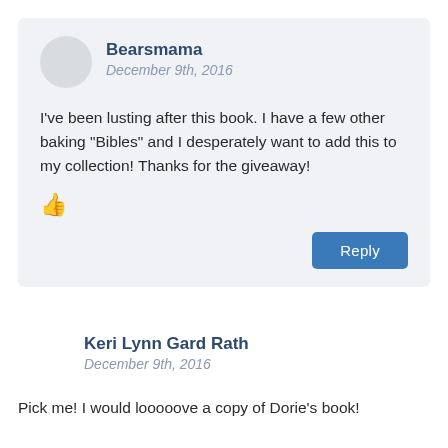Bearsmama
December 9th, 2016
I've been lusting after this book. I have a few other baking “Bibles” and I desperately want to add this to my collection! Thanks for the giveaway!
[Figure (illustration): Thumbs up icon]
Reply
Keri Lynn Gard Rath
December 9th, 2016
Pick me! I would looooove a copy of Dorie’s book!